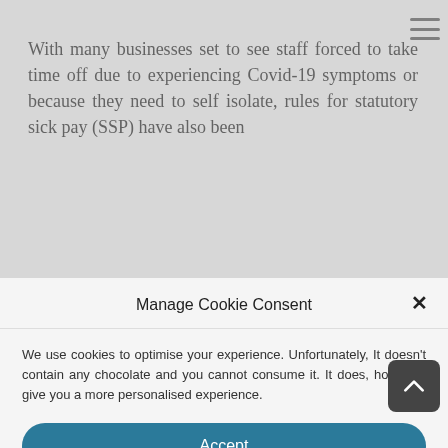With many businesses set to see staff forced to take time off due to experiencing Covid-19 symptoms or because they need to self isolate, rules for statutory sick pay (SSP) have also been
Manage Cookie Consent
We use cookies to optimise your experience. Unfortunately, It doesn’t contain any chocolate and you cannot consume it. It does, however, give you a more personalised experience.
Accept
Deny
Preferences
Cookie Policy   Legal